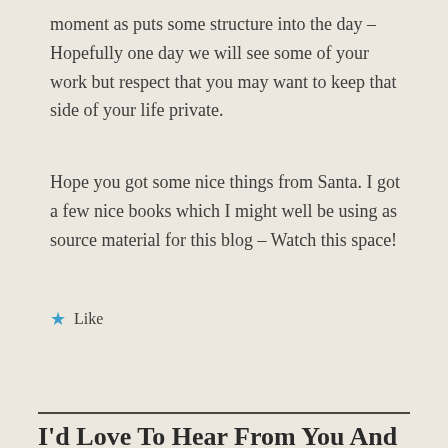moment as puts some structure into the day – Hopefully one day we will see some of your work but respect that you may want to keep that side of your life private.
Hope you got some nice things from Santa. I got a few nice books which I might well be using as source material for this blog – Watch this space!
★ Like
Reply
I'd Love To Hear From You And I